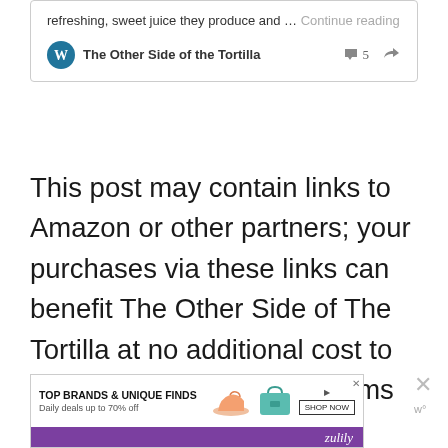refreshing, sweet juice they produce and … Continue reading
The Other Side of the Tortilla  5
This post may contain links to Amazon or other partners; your purchases via these links can benefit The Other Side of The Tortilla at no additional cost to you when you purchase items linked from this site.
[Figure (screenshot): Advertisement banner for Zulily: TOP BRANDS & UNIQUE FINDS, Daily deals up to 70% off, with shoe and purse images and SHOP NOW button]